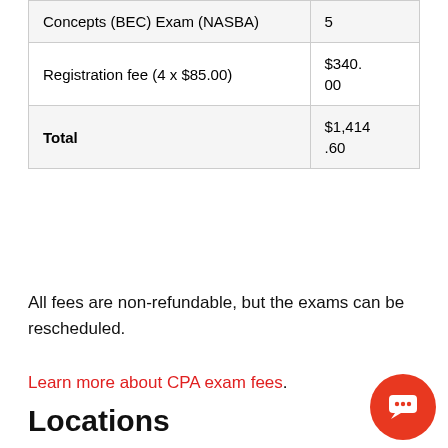| Description | Amount |
| --- | --- |
| Concepts (BEC) Exam (NASBA) | 5 |
| Registration fee (4 x $85.00) | $340.00 |
| Total | $1,414.60 |
All fees are non-refundable, but the exams can be rescheduled.
Learn more about CPA exam fees.
Locations